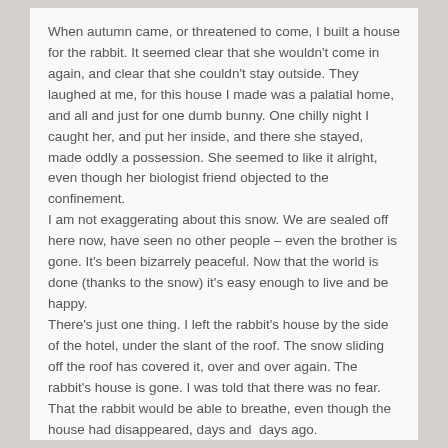When autumn came, or threatened to come, I built a house for the rabbit.  It seemed clear that she wouldn't come in again, and clear that she couldn't stay outside.  They laughed at me, for this house I made was a palatial home, and all and just for one dumb bunny.  One chilly night I caught her, and put her inside, and there she stayed, made oddly a possession.  She seemed to like it alright, even though her biologist friend objected to the confinement.
I am not exaggerating about this snow.  We are sealed off here now, have seen no other people – even the brother is gone.  It's been bizarrely peaceful.  Now that the world is done (thanks to the snow) it's easy enough to live and be happy.
There's just one thing.  I left the rabbit's house by the side of the hotel, under the slant of the roof.  The snow sliding off the roof has covered it, over and over again.  The rabbit's house is gone.  I was told that there was no fear.  That the rabbit would be able to breathe, even though the house had disappeared, days and  days ago.
Today I was alone all day – my friend walked off in the snow.  The idea of the rabbit, walled inside a world of snow, was stuck in my head so I put on my snowsuit and took a shovel